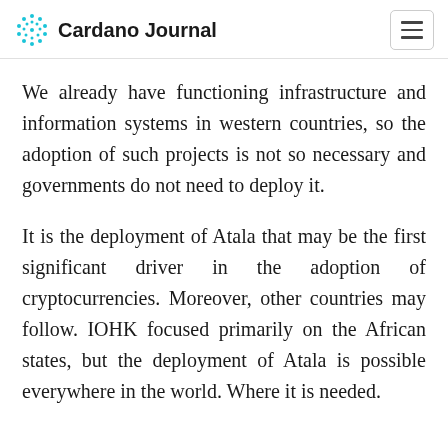Cardano Journal
We already have functioning infrastructure and information systems in western countries, so the adoption of such projects is not so necessary and governments do not need to deploy it.
It is the deployment of Atala that may be the first significant driver in the adoption of cryptocurrencies. Moreover, other countries may follow. IOHK focused primarily on the African states, but the deployment of Atala is possible everywhere in the world. Where it is needed.